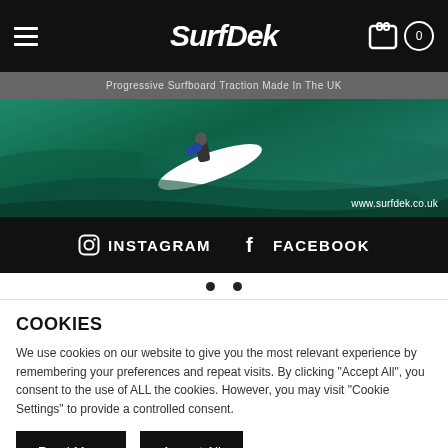SurfDek
Progressive Surfboard Traction Made In The UK
[Figure (photo): Aerial/action photo of a surfer on a wave, green-blue ocean water, white surfboard visible. URL watermark: www.surfdek.co.uk]
INSTAGRAM   FACEBOOK
COOKIES
We use cookies on our website to give you the most relevant experience by remembering your preferences and repeat visits. By clicking "Accept All", you consent to the use of ALL the cookies. However, you may visit "Cookie Settings" to provide a controlled consent.
Read More   Accept All